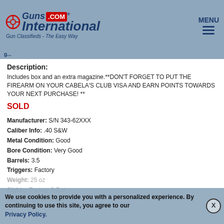[Figure (logo): GunsInternational.com logo with crosshair icon and tagline 'Gun Classifieds - The Easy Way']
MENU
Description:
Includes box and an extra magazine.**DON'T FORGET TO PUT THE FIREARM ON YOUR CABELA'S CLUB VISA AND EARN POINTS TOWARDS YOUR NEXT PURCHASE! **
SOLD
Manufacturer: S/N 343-62XXX
Caliber Info: .40 S&W
Metal Condition: Good
Bore Condition: Very Good
Barrels: 3.5
Triggers: Factory
Weight: 25 oz
Sights: Factory 3-Dot
Item Location: Avon, OH
We use cookies to provide you with a personalized experience. By continuing to use this site, you agree to our Privacy Policy.